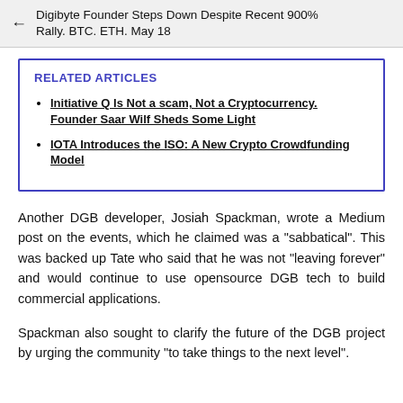Digibyte Founder Steps Down Despite Recent 900% Rally. BTC. ETH. May 18
RELATED ARTICLES
Initiative Q Is Not a scam, Not a Cryptocurrency. Founder Saar Wilf Sheds Some Light
IOTA Introduces the ISO: A New Crypto Crowdfunding Model
Another DGB developer, Josiah Spackman, wrote a Medium post on the events, which he claimed was a "sabbatical". This was backed up Tate who said that he was not "leaving forever" and would continue to use opensource DGB tech to build commercial applications.
Spackman also sought to clarify the future of the DGB project by urging the community "to take things to the next level".